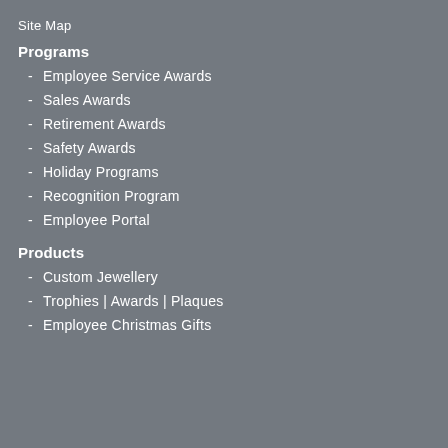Site Map
Programs
Employee Service Awards
Sales Awards
Retirement Awards
Safety Awards
Holiday Programs
Recognition Program
Employee Portal
Products
Custom Jewellery
Trophies | Awards | Plaques
Employee Christmas Gifts